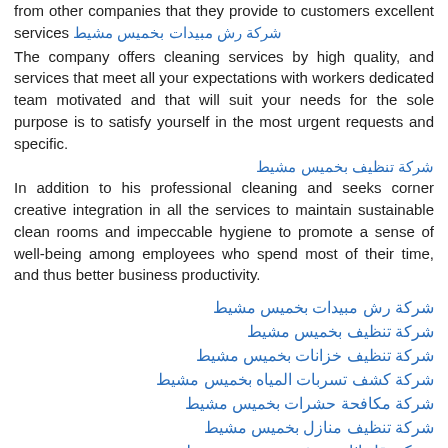from other companies that they provide to customers excellent services شركة رش مبيدات بخميس مشيط
The company offers cleaning services by high quality, and services that meet all your expectations with workers dedicated team motivated and that will suit your needs for the sole purpose is to satisfy yourself in the most urgent requests and specific.
شركة تنظيف بخميس مشيط
In addition to his professional cleaning and seeks corner creative integration in all the services to maintain sustainable clean rooms and impeccable hygiene to promote a sense of well-being among employees who spend most of their time, and thus better business productivity.
شركة رش مبيدات بخميس مشيط
شركة تنظيف بخميس مشيط
شركة تنظيف خزانات بخميس مشيط
شركة كشف تسربات المياه بخميس مشيط
شركة مكافحة حشرات بخميس مشيط
شركة تنظيف منازل بخميس مشيط
شركة نقل اثاث وعفش بخميس مشيط
شركة تسليك مجاري بخميس مشيط